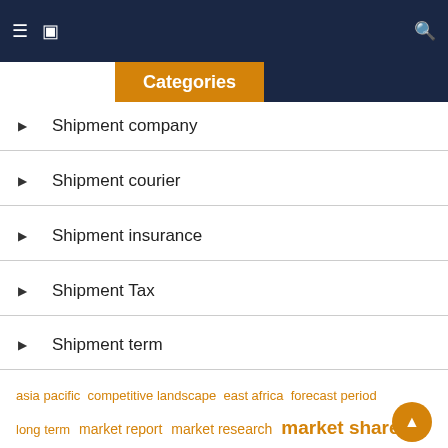Categories
Shipment company
Shipment courier
Shipment insurance
Shipment Tax
Shipment term
asia pacific competitive landscape east africa forecast period long term market report market research market share middle east north america press release prime minister supply chain